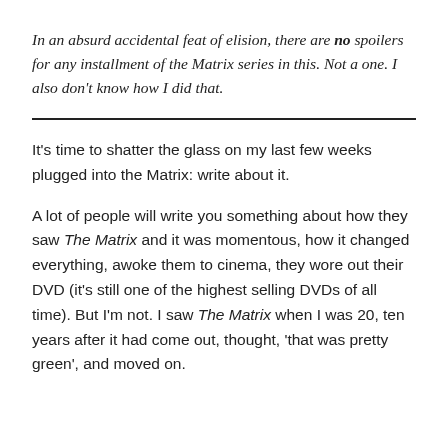In an absurd accidental feat of elision, there are no spoilers for any installment of the Matrix series in this. Not a one. I also don't know how I did that.
It's time to shatter the glass on my last few weeks plugged into the Matrix: write about it.
A lot of people will write you something about how they saw The Matrix and it was momentous, how it changed everything, awoke them to cinema, they wore out their DVD (it's still one of the highest selling DVDs of all time). But I'm not. I saw The Matrix when I was 20, ten years after it had come out, thought, 'that was pretty green', and moved on.